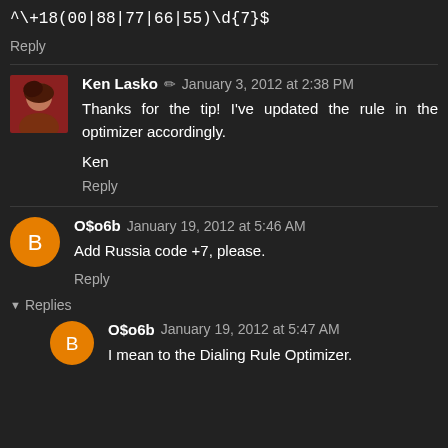^\+18(00|88|77|66|55)\d{7}$
Reply
Ken Lasko ✏ January 3, 2012 at 2:38 PM
Thanks for the tip! I've updated the rule in the optimizer accordingly.
Ken
Reply
O$o6b January 19, 2012 at 5:46 AM
Add Russia code +7, please.
Reply
▼ Replies
O$o6b January 19, 2012 at 5:47 AM
I mean to the Dialing Rule Optimizer.